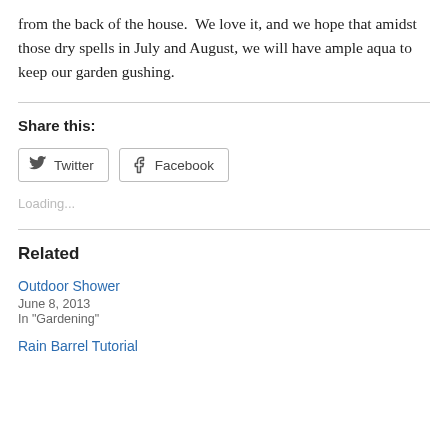from the back of the house.  We love it, and we hope that amidst those dry spells in July and August, we will have ample aqua to keep our garden gushing.
Share this:
Twitter  Facebook
Loading...
Related
Outdoor Shower
June 8, 2013
In "Gardening"
Rain Barrel Tutorial